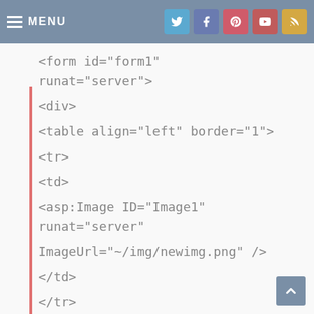MENU
<form id="form1" runat="server">
<div>
<table align="left" border="1">
<tr>
<td>
<asp:Image ID="Image1" runat="server"
ImageUrl="~/img/newimg.png" />
</td>
</tr>
<tr>
<td style="text-align: center; font-weight: 700">
<br />
Use AJAX in ASP.Net C#<br />
<br />
</td>
</tr>
<tr>